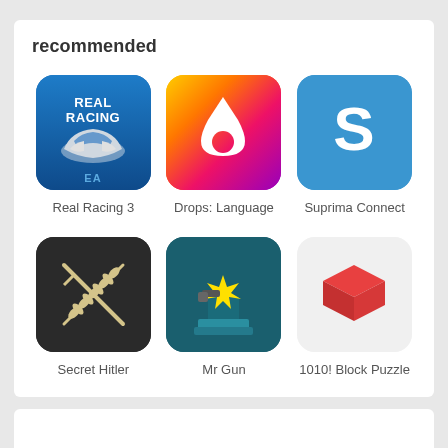recommended
[Figure (screenshot): App icon for Real Racing 3 - blue background with racing car and EA logo]
Real Racing 3
[Figure (screenshot): App icon for Drops: Language - gradient orange/pink/purple background with white water drop]
Drops: Language
[Figure (screenshot): App icon for Suprima Connect - blue background with white S logo]
Suprima Connect
[Figure (screenshot): App icon for Secret Hitler - dark background with crossed sword and wheat/palm branch]
Secret Hitler
[Figure (screenshot): App icon for Mr Gun - teal background with gun firing at target on pedestal]
Mr Gun
[Figure (screenshot): App icon for 1010! Block Puzzle - light background with red 3D cube]
1010! Block Puzzle